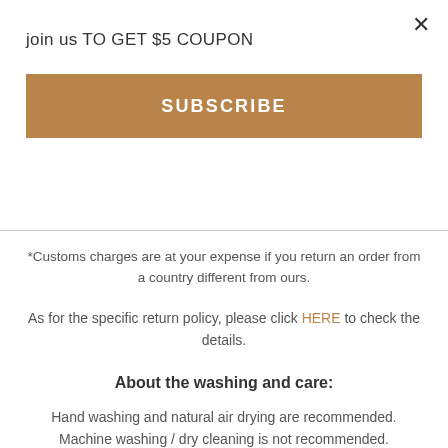join us TO GET $5 COUPON
×
SUBSCRIBE
*Customs charges are at your expense if you return an order from a country different from ours.
As for the specific return policy, please click HERE to check the details.
About the washing and care:
Hand washing and natural air drying are recommended. Machine washing / dry cleaning is not recommended.
Before cleaning, please remove metal accessories to avoid damage to itself or the costume.
Avoid prolonged exposure to sunlight, artificial light, and